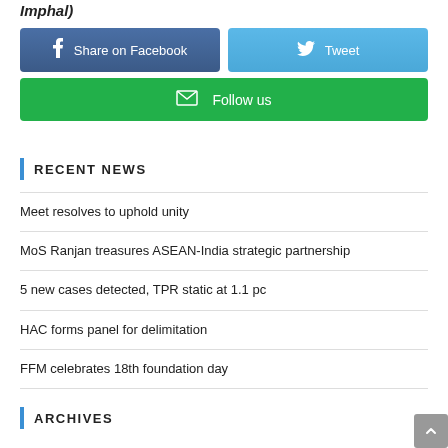Imphal)
[Figure (other): Share on Facebook button (dark blue), Tweet button (light blue), and Follow us button (green) - social media sharing buttons]
RECENT NEWS
Meet resolves to uphold unity
MoS Ranjan treasures ASEAN-India strategic partnership
5 new cases detected, TPR static at 1.1 pc
HAC forms panel for delimitation
FFM celebrates 18th foundation day
ARCHIVES